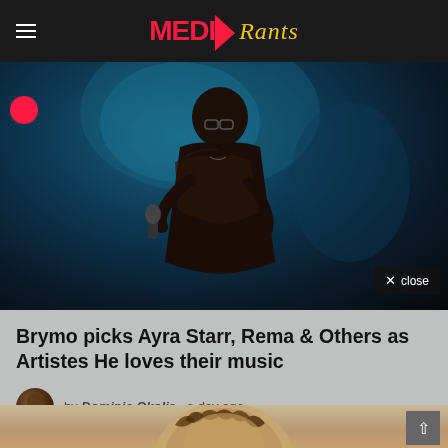MEDIA Rants
[Figure (photo): Singer performing on stage with microphone, wearing glasses, blue stage lighting backdrop]
Brymo picks Ayra Starr, Rema & Others as Artistes He loves their music
by Dominic Okolie  a day ago
[Figure (photo): Person with braided/dreadlocked hair, partial view from below, warm beige tones]